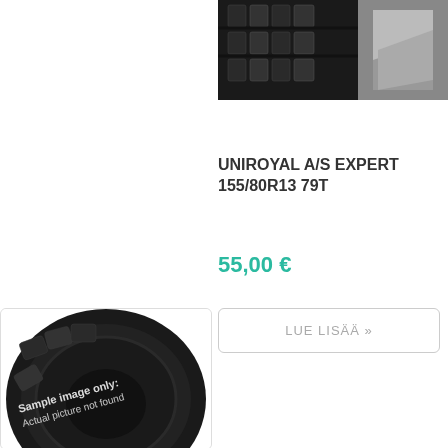[Figure (photo): Close-up of a tire tread pattern, partially cropped at the top of the page]
UNIROYAL A/S EXPERT 155/80R13 79T
55,00 €
LUE LISÄÄ »
[Figure (photo): Tire product image with watermark text 'Sample image only: Actual picture not found']